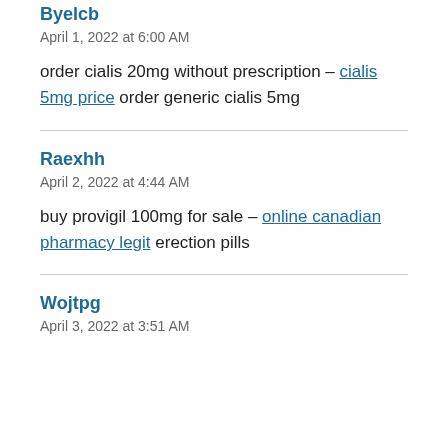Byelcb
April 1, 2022 at 6:00 AM
order cialis 20mg without prescription – cialis 5mg price order generic cialis 5mg
Raexhh
April 2, 2022 at 4:44 AM
buy provigil 100mg for sale – online canadian pharmacy legit erection pills
Wojtpg
April 3, 2022 at 3:51 AM